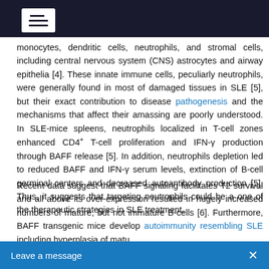[navigation bar with menu icon]
monocytes, dendritic cells, neutrophils, and stromal cells, including central nervous system (CNS) astrocytes and airway epithelia [4]. These innate immune cells, peculiarly neutrophils, were generally found in most of damaged tissues in SLE [5], but their exact contribution to disease pathogenesis and the mechanisms that affect their amassing are poorly understood. In SLE-mice spleens, neutrophils localized in T-cell zones enhanced CD4+ T-cell proliferation and IFN-γ production through BAFF release [5]. In addition, neutrophils depletion led to reduced BAFF and IFN-γ serum levels, extinction of B-cell germinal centers and decreased autoantibody production [5]. Thus, it suggests that targeting neutrophils could be a one of the therapeutic strategies in SLE treatment.
Recent data suggest that BAFF signaling facilitates T2 survival and all above its over-expression resulted in hugely increased numbers of mature, but not immature B-cells [6]. Furthermore, BAFF transgenic mice develop autoimmunity resembling SLE including hyperplasia of mature B-cells, autoantibody production and deposition in kidney [7]. In fact, to BAFF...